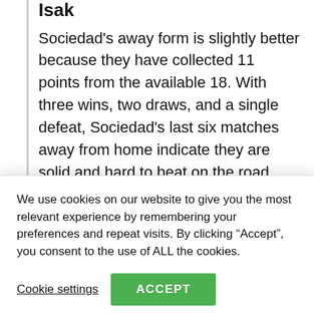Isak
Sociedad's away form is slightly better because they have collected 11 points from the available 18. With three wins, two draws, and a single defeat, Sociedad's last six matches away from home indicate they are solid and hard to beat on the road. Mile Merino (hamstring), Jon Guridi (muscle injury), Asier Illarramendi (muscle injury), Nacho Monreal (knee
We use cookies on our website to give you the most relevant experience by remembering your preferences and repeat visits. By clicking “Accept”, you consent to the use of ALL the cookies.
Cookie settings
ACCEPT